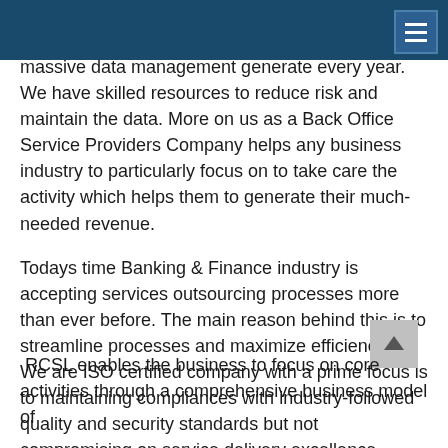massive data management generate every year. We have skilled resources to reduce risk and maintain the data. More on us as a Back Office Service Providers Company helps any business industry to particularly focus on to take care the activity which helps them to generate their much-needed revenue.
Todays time Banking & Finance industry is accepting services outsourcing processes more than ever before. The main reason behind this is to streamline processes and maximize efficiencies. We are ISO certified company with a prime focus is to maintaining compliances with industry-followed quality and security standards but not compromising on service delivery excellence.
RCSL enables the business to focus on core activities through a comprehensive business model of